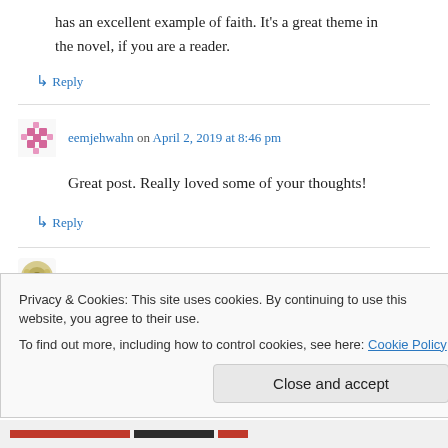has an excellent example of faith. It's a great theme in the novel, if you are a reader.
↳ Reply
eemjehwahn on April 2, 2019 at 8:46 pm
Great post. Really loved some of your thoughts!
↳ Reply
Ken W. Simpson on April 2, 2019 at 10:43 pm
Privacy & Cookies: This site uses cookies. By continuing to use this website, you agree to their use. To find out more, including how to control cookies, see here: Cookie Policy
Close and accept